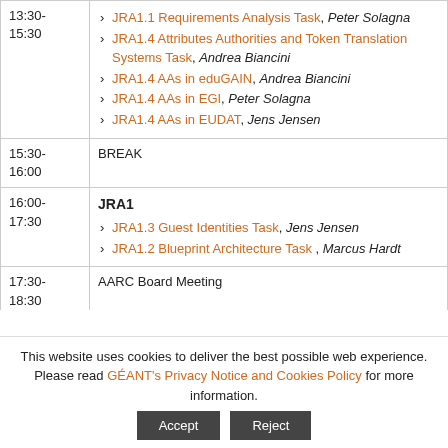| Time | Content |
| --- | --- |
| 13:30-15:30 | JRA1.1 Requirements Analysis Task, Peter Solagna
JRA1.4 Attributes Authorities and Token Translation Systems Task, Andrea Biancini
JRA1.4 AAs in eduGAIN, Andrea Biancini
JRA1.4 AAs in EGI, Peter Solagna
JRA1.4 AAs in EUDAT, Jens Jensen |
| 15:30-16:00 | BREAK |
| 16:00-17:30 | JRA1
JRA1.3 Guest Identities Task, Jens Jensen
JRA1.2 Blueprint Architecture Task, Marcus Hardt |
| 17:30-18:30 | AARC Board Meeting |
This website uses cookies to deliver the best possible web experience. Please read GÉANT's Privacy Notice and Cookies Policy for more information.